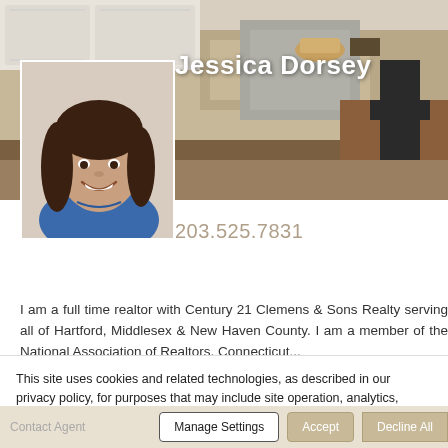[Figure (photo): Kitchen interior hero background image with white cabinets, granite countertops, and wooden dining table]
[Figure (photo): Headshot of Jessica Dorsey, a woman with brown hair, smiling, wearing a blue top]
Jessica Dorsey
203.525.7831
I am a full time realtor with Century 21 Clemens & Sons Realty serving all of Hartford, Middlesex & New Haven County. I am a member of the National Association of Realtors, Connecticut...
This site uses cookies and related technologies, as described in our privacy policy, for purposes that may include site operation, analytics, enhanced user experience, or advertising. You may choose to consent to our use of these technologies, or manage your own preferences.